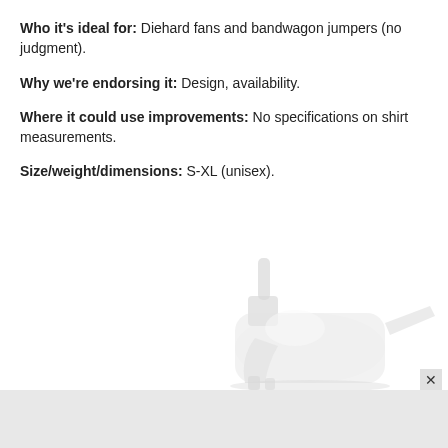Who it's ideal for: Diehard fans and bandwagon jumpers (no judgment).
Why we're endorsing it: Design, availability.
Where it could use improvements: No specifications on shirt measurements.
Size/weight/dimensions: S-XL (unisex).
[Figure (photo): A transparent/white plastic spray bottle trigger mechanism shown from the side, on a white background.]